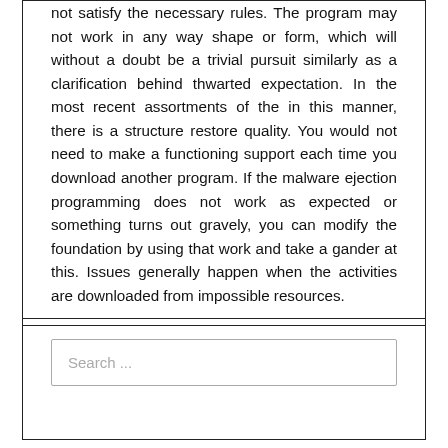not satisfy the necessary rules. The program may not work in any way shape or form, which will without a doubt be a trivial pursuit similarly as a clarification behind thwarted expectation. In the most recent assortments of the in this manner, there is a structure restore quality. You would not need to make a functioning support each time you download another program. If the malware ejection programming does not work as expected or something turns out gravely, you can modify the foundation by using that work and take a gander at this. Issues generally happen when the activities are downloaded from impossible resources.
Search ...